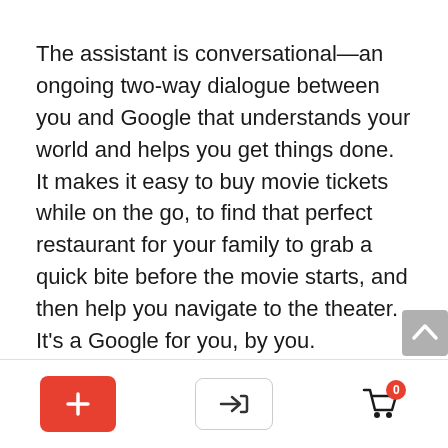The assistant is conversational—an ongoing two-way dialogue between you and Google that understands your world and helps you get things done. It makes it easy to buy movie tickets while on the go, to find that perfect restaurant for your family to grab a quick bite before the movie starts, and then help you navigate to the theater. It's a Google for you, by you.
[Figure (other): Scroll-to-top button (grey rounded rectangle with upward chevron arrow)]
[Figure (other): Bottom navigation bar with three buttons: red plus button, login/arrow button, and shopping cart with badge showing 0]